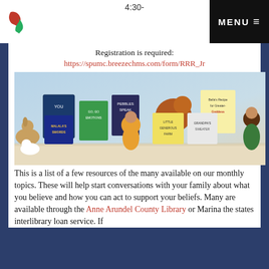4:30-  MENU
Registration is required:
https://spumc.breezechms.com/form/RRR_Jr
[Figure (illustration): A banner image showing a collection of children's book covers including 'You Revolutionary', 'Pebbles Speak', 'Bella's Recipe for Greater-Goddess', 'Malala's Swords', 'Little Generous Farm', 'Grandpa's Sweater', along with illustrated cartoon characters of animals and children.]
This is a list of a few resources of the many available on our monthly topics. These will help start conversations with your family about what you believe and how you can act to support your beliefs. Many are available through the Anne Arundel County Library or Marina the states interlibrary loan service. If